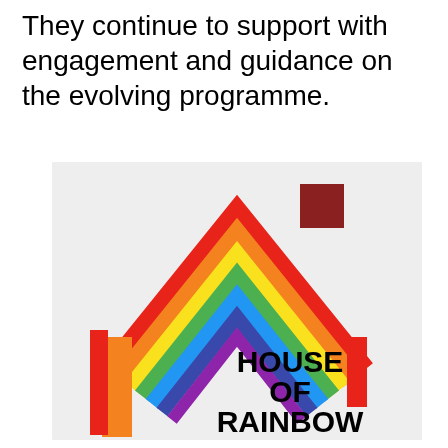They continue to support with engagement and guidance on the evolving programme.
[Figure (logo): House of Rainbow logo: a rainbow-coloured chevron/roof shape (red, orange, yellow, green, blue, indigo, violet stripes) forming a house roof outline with a dark red chimney square at top right, and the text 'HOUSE OF RAINBOW' in bold black on the right side.]